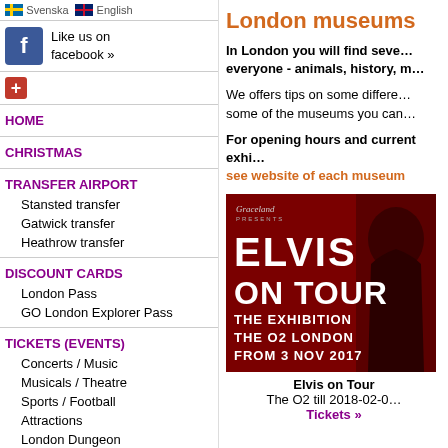Svenska | English
Like us on facebook »
HOME
CHRISTMAS
TRANSFER AIRPORT
Stansted transfer
Gatwick transfer
Heathrow transfer
DISCOUNT CARDS
London Pass
GO London Explorer Pass
TICKETS (EVENTS)
Concerts / Music
Musicals / Theatre
Sports / Football
Attractions
London Dungeon
London Eye
Harry Potter
Madame Tussauds
London Zoo
Pub Crawl
London museums
In London you will find several museums for everyone - animals, history, m…
We offers tips on some different… some of the museums you can…
For opening hours and current exhi… see website of each museum
[Figure (photo): Elvis on Tour exhibition advertisement - dark red background with Elvis Presley silhouette, text: Graceland Presents, ELVIS ON TOUR, THE EXHIBITION, THE O2 LONDON, FROM 3 NOV 2017]
Elvis on Tour
The O2 till 2018-02-0…
Tickets »